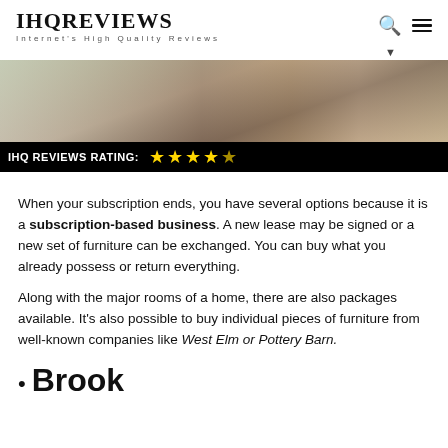IHQREVIEWS — Internet's High Quality Reviews
[Figure (photo): Photo of a person in a stylish interior setting with furniture, overlaid with a black rating bar showing 'IHQ REVIEWS RATING:' and 4.5 gold stars]
When your subscription ends, you have several options because it is a subscription-based business. A new lease may be signed or a new set of furniture can be exchanged. You can buy what you already possess or return everything.
Along with the major rooms of a home, there are also packages available. It's also possible to buy individual pieces of furniture from well-known companies like West Elm or Pottery Barn.
Brook